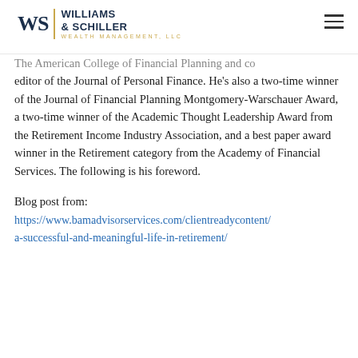Williams & Schiller Wealth Management, LLC
The American College of Financial Planning and co editor of the Journal of Personal Finance. He's also a two-time winner of the Journal of Financial Planning Montgomery-Warschauer Award, a two-time winner of the Academic Thought Leadership Award from the Retirement Income Industry Association, and a best paper award winner in the Retirement category from the Academy of Financial Services. The following is his foreword.
Blog post from:
https://www.bamadvisorservices.com/clientreadycontent/a-successful-and-meaningful-life-in-retirement/